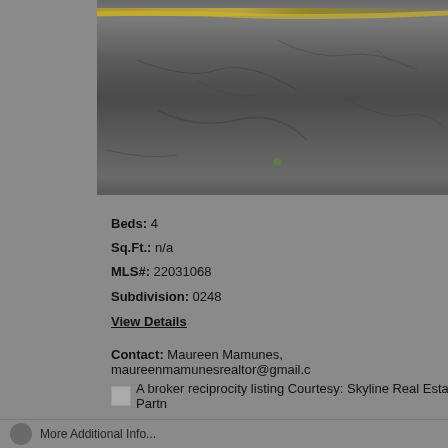[Figure (photo): Aerial or street-level photo of a road/driveway surface, showing asphalt or gravel with a yellow road marking line visible near the top.]
Beds: 4
Sq.Ft.: n/a
MLS#: 22031068
Subdivision: 0248
View Details
Contact: Maureen Mamunes, maureenmamunesrealtor@gmail.c...
A broker reciprocity listing Courtesy: Skyline Real Estate Partn...
More Additional Info...